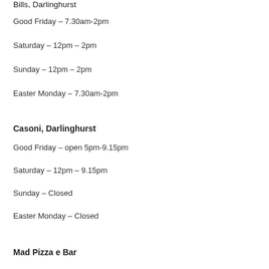Bills, Darlinghurst
Good Friday – 7.30am-2pm
Saturday – 12pm – 2pm
Sunday – 12pm – 2pm
Easter Monday – 7.30am-2pm
Casoni, Darlinghurst
Good Friday – open 5pm-9.15pm
Saturday – 12pm – 9.15pm
Sunday – Closed
Easter Monday – Closed
Mad Pizza e Bar